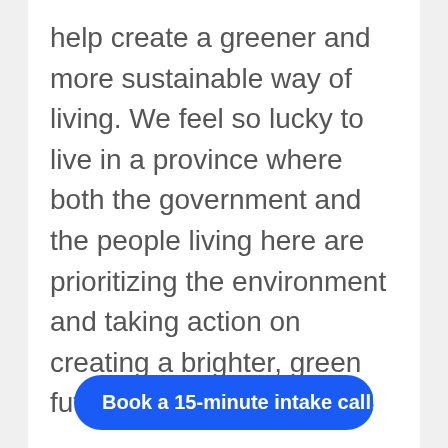help create a greener and more sustainable way of living. We feel so lucky to live in a province where both the government and the people living here are prioritizing the environment and taking action on creating a brighter, green future for us all.
In honour of Earth Day, we wanted to take a moment to give a quick shout out of some of the many amazing green initiatives in Nova Scotia! This is by no means an exhaustive list, but rather a few highlig…
Book a 15-minute intake call!